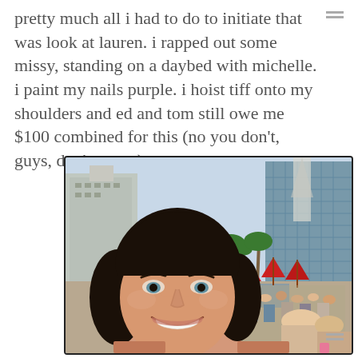pretty much all i had to do to initiate that was look at lauren. i rapped out some missy, standing on a daybed with michelle. i paint my nails purple. i hoist tiff onto my shoulders and ed and tom still owe me $100 combined for this (no you don't, guys, don't worry).
[Figure (photo): A woman with dark hair smiling at the camera in the foreground, taken at what appears to be a busy outdoor pool party in Las Vegas. Background shows tall hotel buildings, palm trees, the Eiffel Tower replica, red umbrellas, and a large crowd of people.]